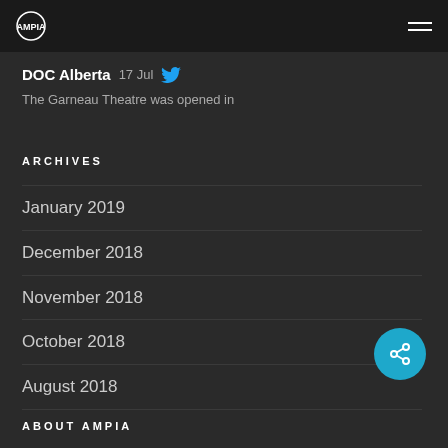AMPIA
DOC Alberta  17 Jul
The Garneau Theatre was opened in
ARCHIVES
January 2019
December 2018
November 2018
October 2018
August 2018
ABOUT AMPIA